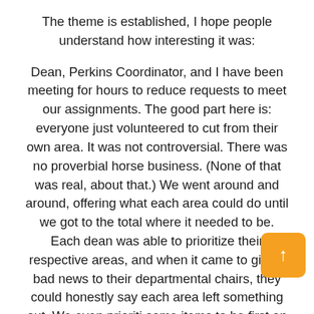The theme is established, I hope people understand how interesting it was:
Dean, Perkins Coordinator, and I have been meeting for hours to reduce requests to meet our assignments. The good part here is: everyone just volunteered to cut from their own area. It was not controversial. There was no proverbial horse business. (None of that was real, about that.) We went around and around, offering what each area could do until we got to the total where it needed to be. Each dean was able to prioritize their respective areas, and when it came to giving bad news to their departmental chairs, they could honestly say each area left something out. We even prioriti some items to be first on the list if other items came